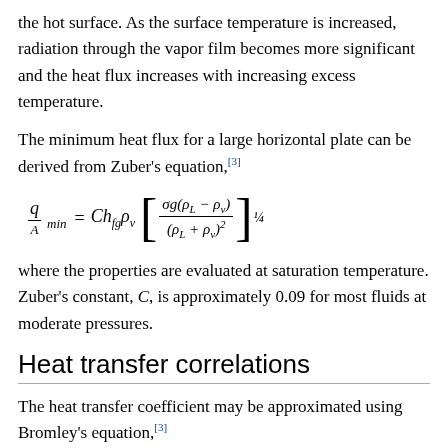the hot surface. As the surface temperature is increased, radiation through the vapor film becomes more significant and the heat flux increases with increasing excess temperature.
The minimum heat flux for a large horizontal plate can be derived from Zuber's equation,[3]
where the properties are evaluated at saturation temperature. Zuber's constant, C, is approximately 0.09 for most fluids at moderate pressures.
Heat transfer correlations
The heat transfer coefficient may be approximated using Bromley's equation,[3]